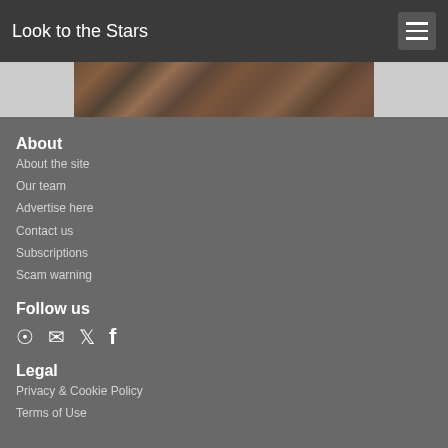Look to the Stars
[Figure (photo): Horizontal strip of celebrity photos collage]
About
About the site
Our team
Advertise here
Contact us
Subscriptions
Scam warning
Follow us
[Figure (infographic): Social media icons: RSS, Email, Twitter, Facebook]
Legal
Privacy & Cookie Policy
Terms of Use